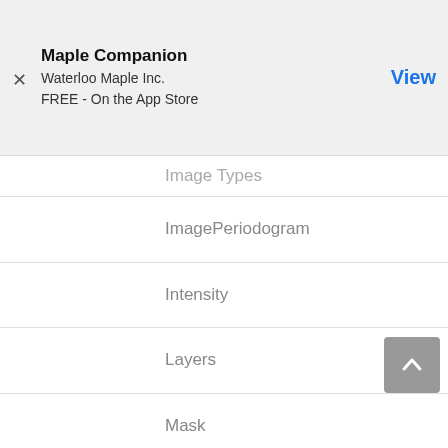Maple Companion
Waterloo Maple Inc.
FREE - On the App Store
Image Types
ImagePeriodogram
Intensity
Layers
Mask
Memory Usage in ImageTools
PadImage
PlotHistogram
Preview
ProbabilisticLabel...